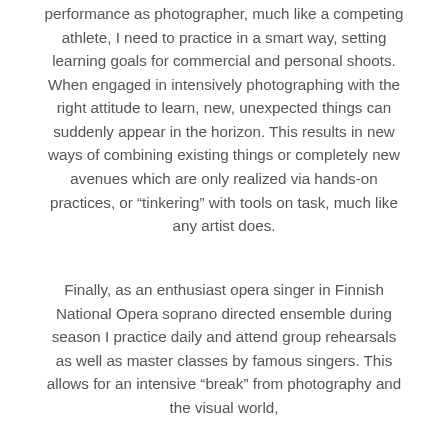performance as photographer, much like a competing athlete, I need to practice in a smart way, setting learning goals for commercial and personal shoots. When engaged in intensively photographing with the right attitude to learn, new, unexpected things can suddenly appear in the horizon. This results in new ways of combining existing things or completely new avenues which are only realized via hands-on practices, or “tinkering” with tools on task, much like any artist does.
Finally, as an enthusiast opera singer in Finnish National Opera soprano directed ensemble during season I practice daily and attend group rehearsals as well as master classes by famous singers. This allows for an intensive “break” from photography and the visual world,